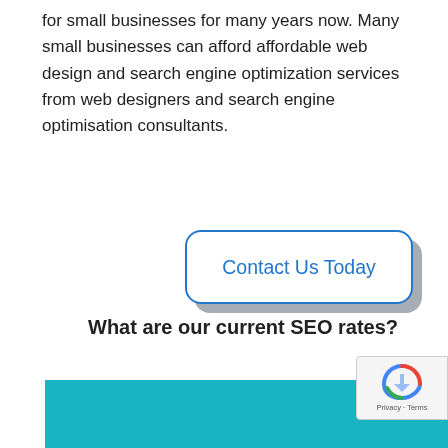for small businesses for many years now. Many small businesses can afford affordable web design and search engine optimization services from web designers and search engine optimisation consultants.
[Figure (other): A 'Contact Us Today' button with a blue border and blue text on a white background, with a grey shadow beneath it.]
What are our current SEO rates?
[Figure (other): A teal/cyan colored bar at the bottom of the page, partially visible.]